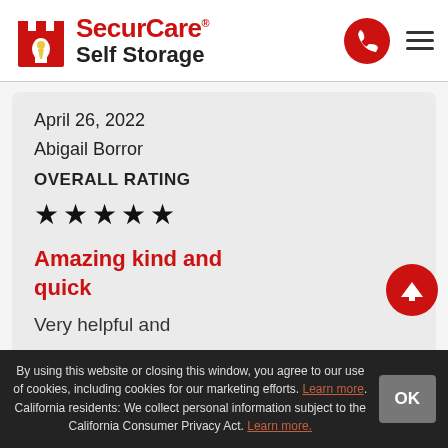[Figure (logo): SecurCare Self Storage logo with red castle/rook icon and red brand name text]
April 26, 2022
Abigail Borror
OVERALL RATING
★★★★★
Amazing kind and quick
Very helpful and
By using this website or closing this window, you agree to our use of cookies, including cookies for our marketing efforts. Learn more. California residents: We collect personal information subject to the California Consumer Privacy Act. Learn more.
OK